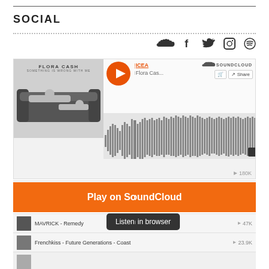SOCIAL
[Figure (screenshot): SoundCloud embedded player showing Flora Cash - ICEA track with waveform, play button, duration 3:48, and 180K plays. Below are track listings including ICEA - Flora Cash - Sadness Is Taking Over (180K), MAVRICK - Remedy (47K), Frenchkiss - Future Generations - Coast (23.9K), and two more partial rows.]
Play on SoundCloud
Listen in browser